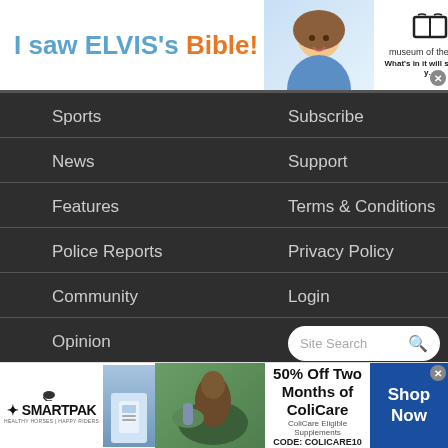[Figure (infographic): Banner advertisement: 'I saw ELVIS's Bible!' with a child smiling and Museum of the Bible branding saying 'What's in it will surprise you.']
Sports
News
Features
Police Reports
Community
Opinion
Religion
Subscribe
Support
Terms & Conditions
Privacy Policy
Login
[Figure (infographic): SmartPak advertisement: '50% Off Two Months of ColiCare, ColiCare Eligible Supplements, CODE: COLICARE10' with Shop Now button. Shows horse and product image.]